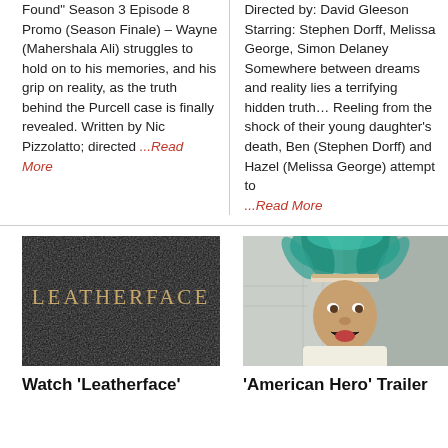Found" Season 3 Episode 8 Promo (Season Finale) – Wayne (Mahershala Ali) struggles to hold on to his memories, and his grip on reality, as the truth behind the Purcell case is finally revealed. Written by Nic Pizzolatto; directed ...Read More
Directed by: David Gleeson Starring: Stephen Dorff, Melissa George, Simon Delaney Somewhere between dreams and reality lies a terrifying hidden truth… Reeling from the shock of their young daughter's death, Ben (Stephen Dorff) and Hazel (Melissa George) attempt to ...Read More
[Figure (photo): Dark background with 'LEATHERFACE' text in gold serif letters]
Watch 'Leatherface'
[Figure (photo): Man wearing a Native American headdress with teal feathers, looking forward with mouth open]
'American Hero' Trailer